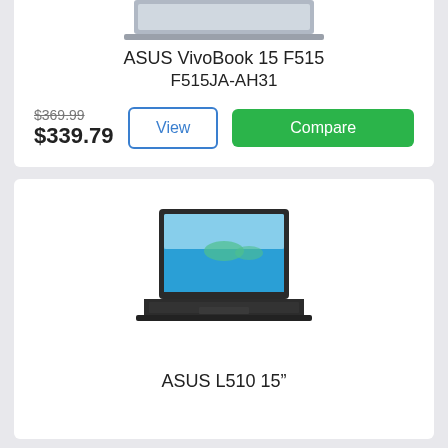[Figure (photo): Partial top view of ASUS VivoBook 15 F515 laptop showing the lid/top portion, cropped]
ASUS VivoBook 15 F515
F515JA-AH31
$369.99 (strikethrough) $339.79
[Figure (photo): ASUS L510 15 inch laptop open, showing blue wallpaper screen, viewed from front-left angle]
ASUS L510 15”